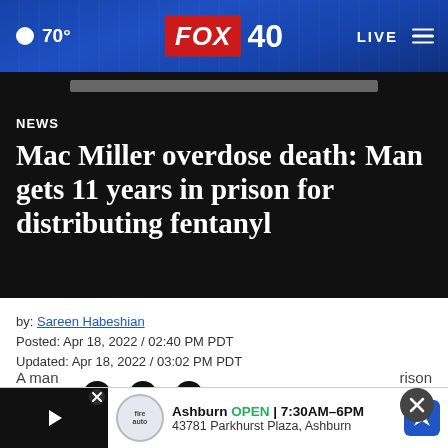🌙 70° | FOX 40 | LIVE
NEWS
Mac Miller overdose death: Man gets 11 years in prison for distributing fentanyl
by: Sareen Habeshian
Posted: Apr 18, 2022 / 02:40 PM PDT
Updated: Apr 18, 2022 / 03:02 PM PDT
SHARE
[Figure (screenshot): Bottom advertisement banner: Firestone Auto Care, Ashburn OPEN 7:30AM–6PM, 43781 Parkhurst Plaza, Ashburn]
A man... prison